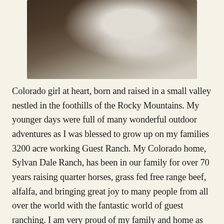[Figure (photo): A person in a dark brown/grey hoodie holding a white fluffy cat or small animal, outdoors with natural background.]
Colorado girl at heart, born and raised in a small valley nestled in the foothills of the Rocky Mountains. My younger days were full of many wonderful outdoor adventures as I was blessed to grow up on my families 3200 acre working Guest Ranch. My Colorado home, Sylvan Dale Ranch, has been in our family for over 70 years raising quarter horses, grass fed free range beef, alfalfa, and bringing great joy to many people from all over the world with the fantastic world of guest ranching. I am very proud of my family and home as Sylvan Dale Ranch has always functioned with open arms embracing and celebrating the goodness of family, hard work and the natural environment. We have always been a head of the curve